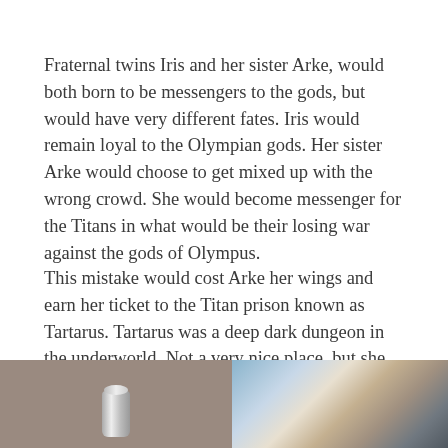Fraternal twins Iris and her sister Arke, would both born to be messengers to the gods, but would have very different fates. Iris would remain loyal to the Olympian gods. Her sister Arke would choose to get mixed up with the wrong crowd. She would become messenger for the Titans in what would be their losing war against the gods of Olympus.
This mistake would cost Arke her wings and earn her ticket to the Titan prison known as Tartarus. Tartarus was a deep dark dungeon in the underworld. Not a very nice place, but she got off lightly compared to another Titan whose story we have told.
[Figure (photo): Left photo: a silver metallic cylindrical object against a gray-brown background.]
[Figure (photo): Right photo: an abstract colorful image with blue, white, and brown tones, possibly a painting or mixed-media artwork.]